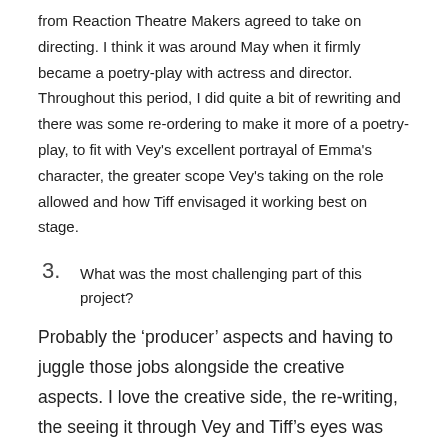from Reaction Theatre Makers agreed to take on directing. I think it was around May when it firmly became a poetry-play with actress and director. Throughout this period, I did quite a bit of rewriting and there was some re-ordering to make it more of a poetry-play, to fit with Vey's excellent portrayal of Emma's character, the greater scope Vey's taking on the role allowed and how Tiff envisaged it working best on stage.
3. What was the most challenging part of this project?
Probably the ‘producer’ aspects and having to juggle those jobs alongside the creative aspects. I love the creative side, the re-writing, the seeing it through Vey and Tiff’s eyes was fantastic. But in effect, I was also producer as the contract with The Courtyard was in my name. So that was dealing with things like the financial constraints, the marketing, liaising with the theatre. Also the whole finding the line between being involved with the play as writer but